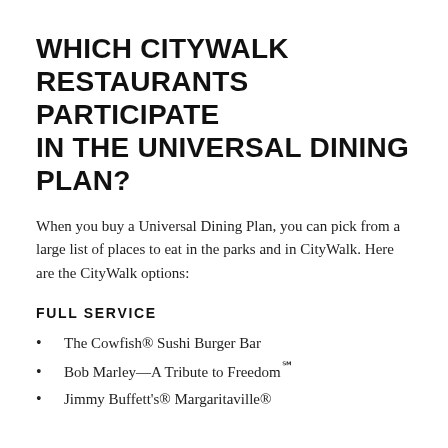WHICH CITYWALK RESTAURANTS PARTICIPATE IN THE UNIVERSAL DINING PLAN?
When you buy a Universal Dining Plan, you can pick from a large list of places to eat in the parks and in CityWalk. Here are the CityWalk options:
FULL SERVICE
The Cowfish® Sushi Burger Bar
Bob Marley—A Tribute to Freedom℠
Jimmy Buffett's® Margaritaville®